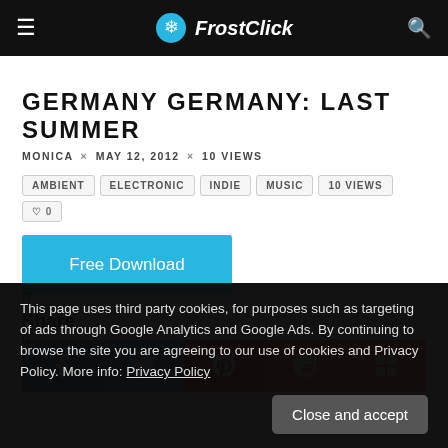FrostClick
GERMANY GERMANY: LAST SUMMER
MONICA × MAY 12, 2012 × 10 VIEWS
AMBIENT
ELECTRONIC
INDIE
MUSIC
10 VIEWS
♡ 0
Free Download
Share
This page uses third party cookies, for purposes such as targeting of ads through Google Analytics and Google Ads. By continuing to browse the site you are agreeing to our use of cookies and Privacy Policy. More info: Privacy Policy
Close and accept